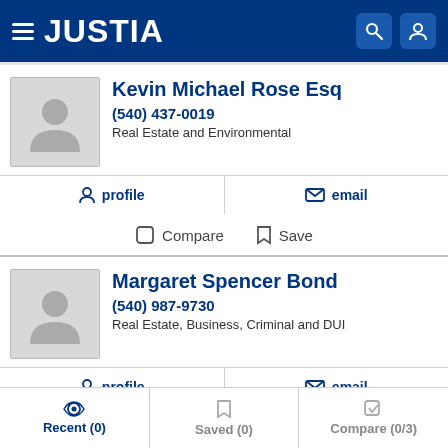JUSTIA
Kevin Michael Rose Esq
(540) 437-0019
Real Estate and Environmental
profile
email
Compare
Save
Margaret Spencer Bond
(540) 987-9730
Real Estate, Business, Criminal and DUI
profile
email
Recent (0)   Saved (0)   Compare (0/3)